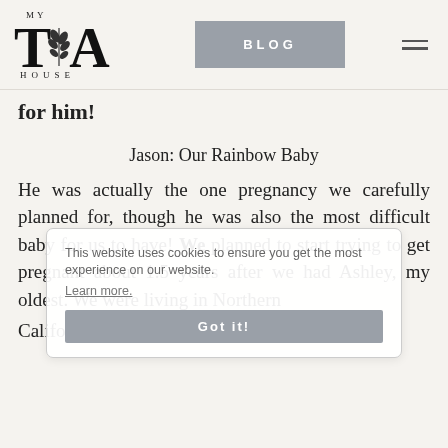[Figure (logo): My TX House logo with decorative leaf/branch graphic and large TX letters]
BLOG
for him!
Jason: Our Rainbow Baby
He was actually the one pregnancy we carefully planned for, though he was also the most difficult baby for us to have! We planned to start trying to get pregnant about 1.5 years after we had Ashley, my oldest. We were living in Northern California at the time, and I ended up
This website uses cookies to ensure you get the best experience on our website. Learn more. Got it!